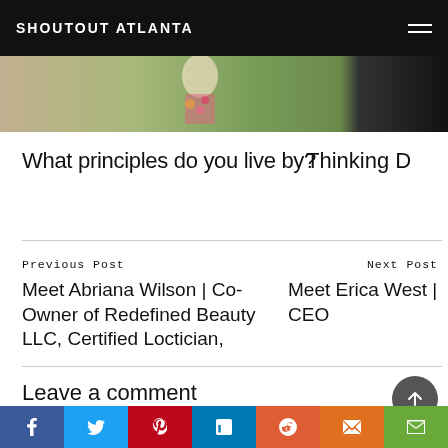SHOUTOUT ATLANTA
[Figure (photo): Partial view of an outdoor photo with natural greenery and a person in a floral outfit; right side shows dark/black area]
What principles do you live by?
Thinking D
Previous Post
Meet Abriana Wilson | Co-Owner of Redefined Beauty LLC, Certified Loctician,
Next Post
Meet Erica West | CEO
Leave a comment
Your email address will not be published. Required fields are marked *